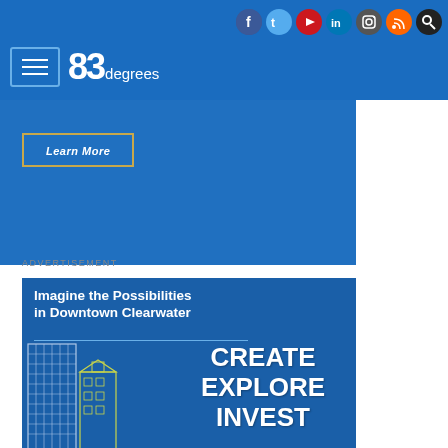83degrees - navigation header with social icons
[Figure (screenshot): Learn More button on blue banner background]
ADVERTISEMENT
[Figure (infographic): Imagine the Possibilities in Downtown Clearwater - CREATE EXPLORE INVEST advertisement with city buildings illustration]